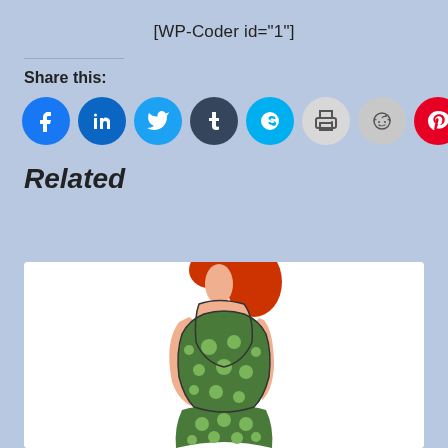[WP-Coder id="1"]
Share this:
[Figure (infographic): Row of social media share icon circles: Facebook (blue), LinkedIn (blue), Twitter (cyan), Tumblr (dark), Skype (light blue), Print (grey), Reddit (grey), Pinterest (red), Email (grey)]
Related
[Figure (illustration): Cartoon illustration of a redheaded woman in a green polka-dot top, viewed from behind/side, partially cropped]